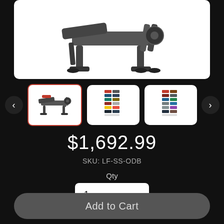[Figure (photo): Product photo of a gym bench/olympic decline bench with weight plate holders, dark gray metal frame, white background]
[Figure (photo): Thumbnail 1: product image of the decline bench (selected, red border)]
[Figure (photo): Thumbnail 2: color swatch chart]
[Figure (photo): Thumbnail 3: color swatch chart]
$1,692.99
SKU: LF-SS-ODB
Qty
1
Add to Cart